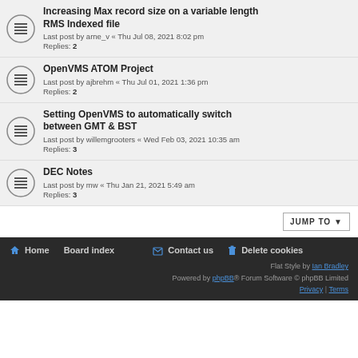Increasing Max record size on a variable length RMS Indexed file
Last post by arne_v « Thu Jul 08, 2021 8:02 pm
Replies: 2
OpenVMS ATOM Project
Last post by ajbrehm « Thu Jul 01, 2021 1:36 pm
Replies: 2
Setting OpenVMS to automatically switch between GMT & BST
Last post by willemgrooters « Wed Feb 03, 2021 10:35 am
Replies: 3
DEC Notes
Last post by mw « Thu Jan 21, 2021 5:49 am
Replies: 3
JUMP TO
Home  Board index  Contact us  Delete cookies
Flat Style by Ian Bradley
Powered by phpBB® Forum Software © phpBB Limited
Privacy | Terms